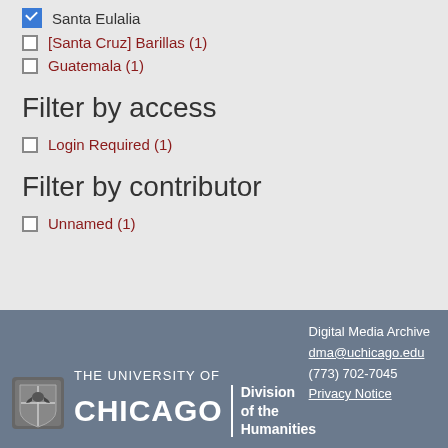Santa Eulalia (checked)
[Santa Cruz] Barillas (1)
Guatemala (1)
Filter by access
Login Required (1)
Filter by contributor
Unnamed (1)
Digital Media Archive
dma@uchicago.edu
(773) 702-7045
Privacy Notice
The University of Chicago | Division of the Humanities